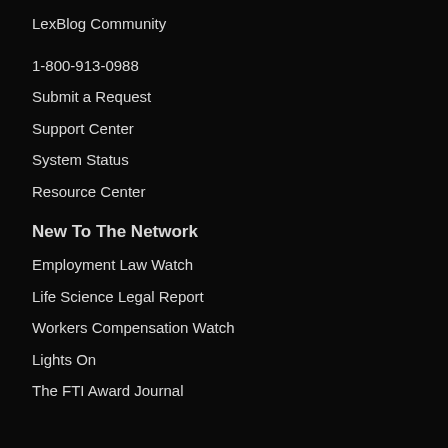LexBlog Community
1-800-913-0988
Submit a Request
Support Center
System Status
Resource Center
New To The Network
Employment Law Watch
Life Science Legal Report
Workers Compensation Watch
Lights On
The FTI Award Journal